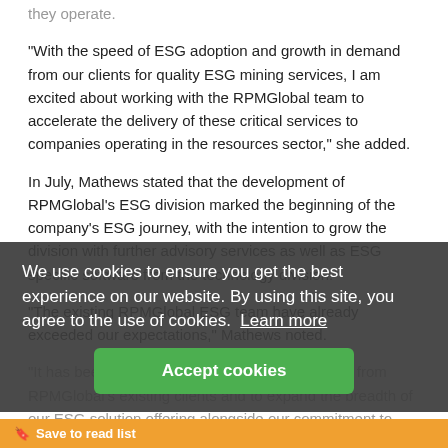they operate.
“With the speed of ESG adoption and growth in demand from our clients for quality ESG mining services, I am excited about working with the RPMGlobal team to accelerate the delivery of these critical services to companies operating in the resources sector,” she added.
In July, Mathews stated that the development of RPMGlobal’s ESG division marked the beginning of the company’s ESG journey, with the intention to grow the division with further advisory services as well as ESG specific software from the technology division.
“The existing RPMGlobal ESG team have already exceeded our expectations,” Mathews noted.
“It has been fantastic to hear the positive support from RPMGlobal’s existing clients and to expand the breadth of our ESG solution offering alongside our commitment to helping our ... compliance and
The acquisition of Blueprint is expected to close on 30 September 2021, subject to satisfaction of a number of conditions precedent and customary completion events.
We use cookies to ensure you get the best experience on our website. By using this site, you agree to the use of cookies. Learn more
Accept cookies
🔖 Save to read list